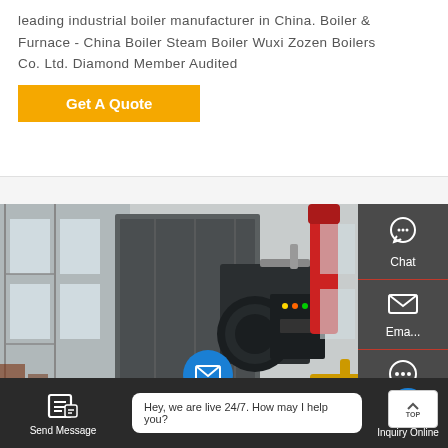leading industrial boiler manufacturer in China. Boiler & Furnace - China Boiler Steam Boiler Wuxi Zozen Boilers Co. Ltd. Diamond Member Audited
Get A Quote
[Figure (photo): Industrial boiler equipment in a factory setting, showing a large steam boiler unit with red cylindrical component and control panel]
Chat
Email
Contact
Send Message
Hey, we are live 24/7. How may I help you?
Inquiry Online